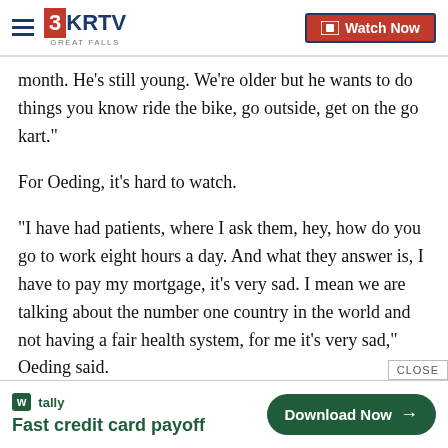3KRTV GREAT FALLS | Watch Now
month. He’s still young. We’re older but he wants to do things you know ride the bike, go outside, get on the go kart.”
For Oeding, it’s hard to watch.
“I have had patients, where I ask them, hey, how do you go to work eight hours a day. And what they answer is, I have to pay my mortgage, it’s very sad. I mean we are talking about the number one country in the world and not having a fair health system, for me it’s very sad,” Oeding said.
[Figure (infographic): Tally advertisement: 'Fast credit card payoff' with 'Download Now' button]